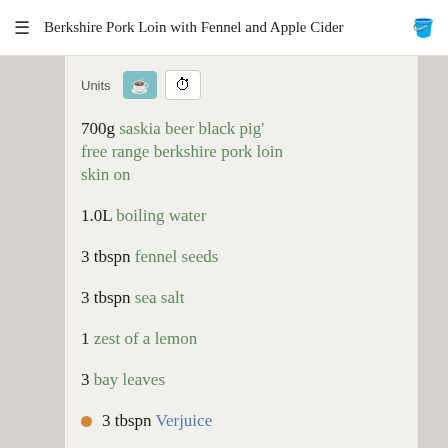Berkshire Pork Loin with Fennel and Apple Cider
700g saskia beer black pig' free range berkshire pork loin skin on
1.0L boiling water
3 tbspn fennel seeds
3 tbspn sea salt
1 zest of a lemon
3 bay leaves
3 tbspn Verjuice